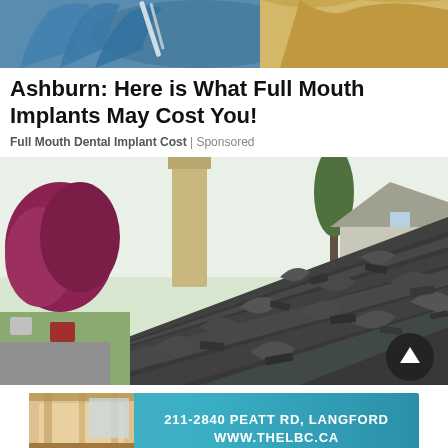[Figure (photo): Close-up photo of blue gloved hands holding a dental instrument near a patient with blonde hair]
Ashburn: Here is What Full Mouth Implants May Cost You!
Full Mouth Dental Implant Cost | Sponsored
[Figure (photo): Photo of severely damaged roof with curling and missing asphalt shingles, with a chimney and trees visible in the background]
[Figure (photo): Advertisement banner: 211-2840 PEATT RD, LANGFORD / WWW.THELBC.CA with an interior room photo on the left]